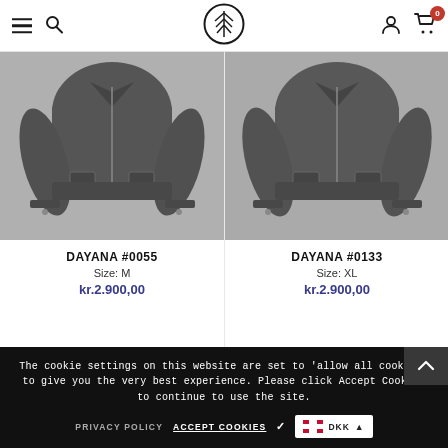Navigation header with hamburger menu, search, logo, account and cart icons
[Figure (photo): Black leather jacket product photo for DAYANA #0055]
DAYANA #0055
Size: M
kr.2.900,00
[Figure (photo): Black leather jacket product photo for DAYANA #0133]
DAYANA #0133
Size: XL
kr.2.900,00
The cookie settings on this website are set to 'allow all cookies' to give you the very best experience. Please click Accept Cookies to continue to use the site.
PRIVACY POLICY    ACCEPT COOKIES ✓    DKK ▲